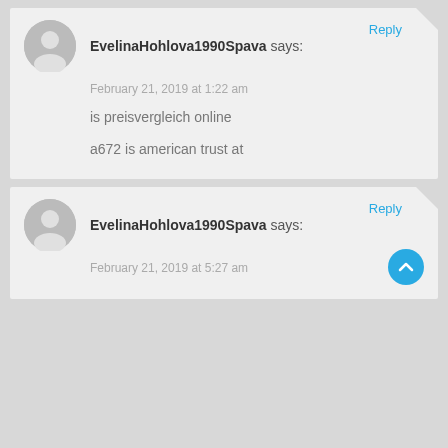EvelinaHohlova1990Spava says:
February 21, 2019 at 1:22 am
is preisvergleich online
a672 is american trust at
EvelinaHohlova1990Spava says:
February 21, 2019 at 5:27 am